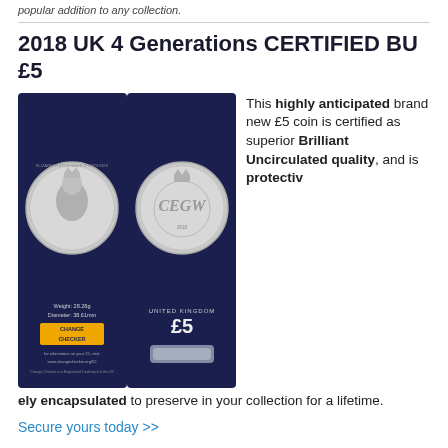popular addition to any collection.
2018 UK 4 Generations CERTIFIED BU £5
[Figure (photo): Photo of a Change Checker £5 coin display pack showing both the obverse (Queen Elizabeth II portrait) and reverse (four generations cypher with crown) of the 2018 UK Four Generations £5 coin. The packaging is dark navy blue with gold Change Checker branding and text showing Weight: 28.28g, Diameter: 38.61mm, UNITED KINGDOM, £5.]
This highly anticipated brand new £5 coin is certified as superior Brilliant Uncirculated quality, and is protectively encapsulated to preserve in your collection for a lifetime.
Secure yours today >>